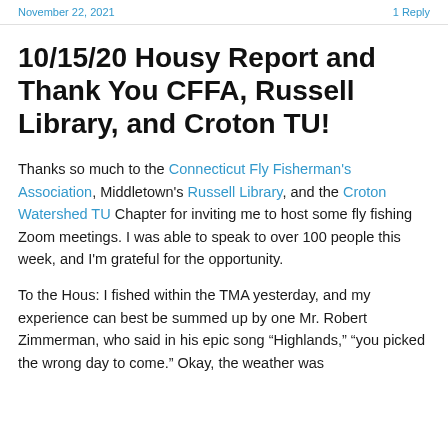November 22, 2021 | 1 Reply
10/15/20 Housy Report and Thank You CFFA, Russell Library, and Croton TU!
Thanks so much to the Connecticut Fly Fisherman's Association, Middletown's Russell Library, and the Croton Watershed TU Chapter for inviting me to host some fly fishing Zoom meetings. I was able to speak to over 100 people this week, and I'm grateful for the opportunity.
To the Hous: I fished within the TMA yesterday, and my experience can best be summed up by one Mr. Robert Zimmerman, who said in his epic song “Highlands,” “you picked the wrong day to come.” Okay, the weather was